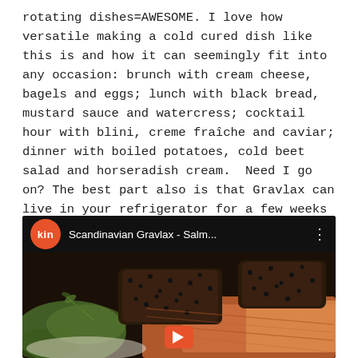rotating dishes=AWESOME. I love how versatile making a cold cured dish like this is and how it can seemingly fit into any occasion: brunch with cream cheese, bagels and eggs; lunch with black bread, mustard sauce and watercress; cocktail hour with blini, creme fraîche and caviar; dinner with boiled potatoes, cold beet salad and horseradish cream. Need I go on? The best part also is that Gravlax can live in your refrigerator for a few weeks for continual noshing pleasures. Pair with my Red-Headed Mary to take the whole shebang completely over the top. Skål!
[Figure (screenshot): YouTube video thumbnail showing Scandinavian Gravlax - Salm... with kin channel logo (orange circle), video title bar on dark background, and food photo of salmon with pepper crust and dill garnish]